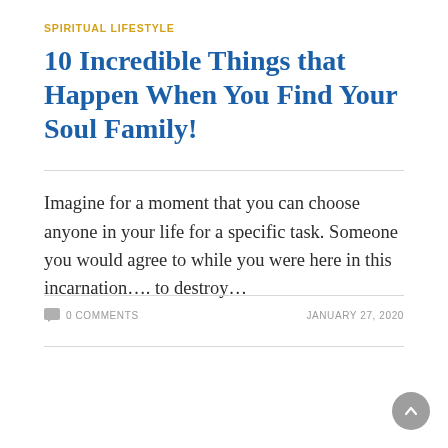SPIRITUAL LIFESTYLE
10 Incredible Things that Happen When You Find Your Soul Family!
Imagine for a moment that you can choose anyone in your life for a specific task. Someone you would agree to while you were here in this incarnation…. to destroy…
0 COMMENTS
JANUARY 27, 2020